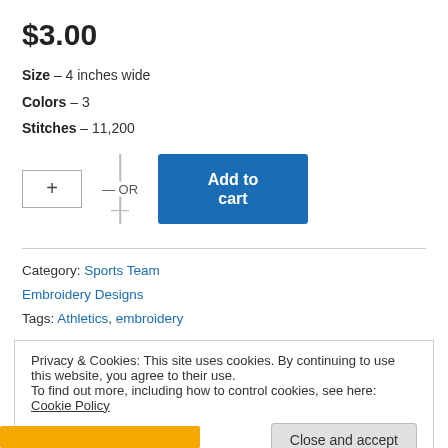$3.00
Size – 4 inches wide
Colors – 3
Stitches – 11,200
+ OR Add to cart
Category: Sports Team Embroidery Designs
Tags: Athletics, embroidery
Privacy & Cookies: This site uses cookies. By continuing to use this website, you agree to their use. To find out more, including how to control cookies, see here: Cookie Policy
Close and accept